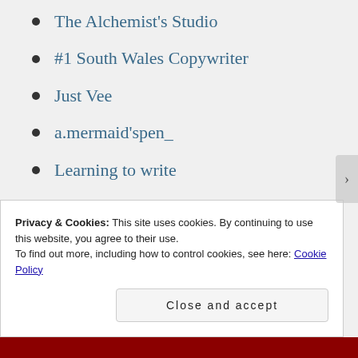The Alchemist's Studio
#1 South Wales Copywriter
Just Vee
a.mermaid'spen_
Learning to write
Frank Solanki
My Life as an Artist (2)
Dirty Sci-Fi Buddha
vanbytheriver
Privacy & Cookies: This site uses cookies. By continuing to use this website, you agree to their use.
To find out more, including how to control cookies, see here: Cookie Policy
Close and accept